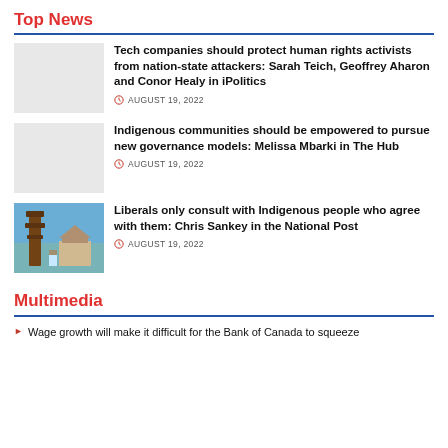Top News
Tech companies should protect human rights activists from nation-state attackers: Sarah Teich, Geoffrey Aharon and Conor Healy in iPolitics
AUGUST 19, 2022
Indigenous communities should be empowered to pursue new governance models: Melissa Mbarki in The Hub
AUGUST 19, 2022
[Figure (photo): Photo of a totem pole and building against blue sky]
Liberals only consult with Indigenous people who agree with them: Chris Sankey in the National Post
AUGUST 19, 2022
Multimedia
Wage growth will make it difficult for the Bank of Canada to squeeze